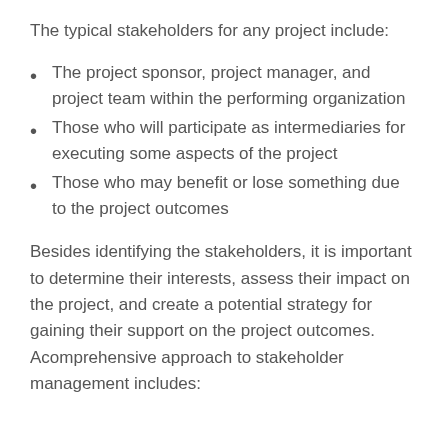The typical stakeholders for any project include:
The project sponsor, project manager, and project team within the performing organization
Those who will participate as intermediaries for executing some aspects of the project
Those who may benefit or lose something due to the project outcomes
Besides identifying the stakeholders, it is important to determine their interests, assess their impact on the project, and create a potential strategy for gaining their support on the project outcomes. Acomprehensive approach to stakeholder management includes: